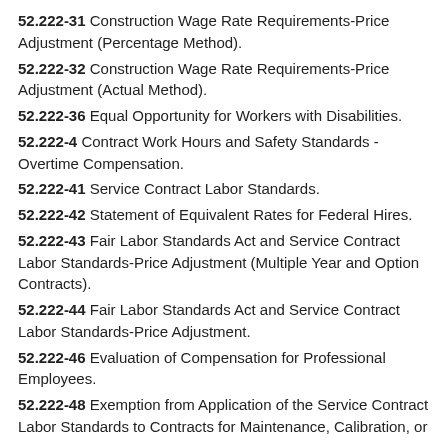52.222-31 Construction Wage Rate Requirements-Price Adjustment (Percentage Method).
52.222-32 Construction Wage Rate Requirements-Price Adjustment (Actual Method).
52.222-36 Equal Opportunity for Workers with Disabilities.
52.222-4 Contract Work Hours and Safety Standards -Overtime Compensation.
52.222-41 Service Contract Labor Standards.
52.222-42 Statement of Equivalent Rates for Federal Hires.
52.222-43 Fair Labor Standards Act and Service Contract Labor Standards-Price Adjustment (Multiple Year and Option Contracts).
52.222-44 Fair Labor Standards Act and Service Contract Labor Standards-Price Adjustment.
52.222-46 Evaluation of Compensation for Professional Employees.
52.222-48 Exemption from Application of the Service Contract Labor Standards to Contracts for Maintenance, Calibration, or